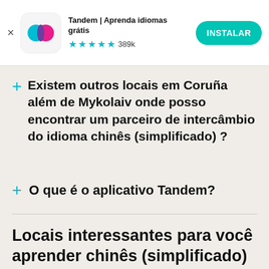[Figure (screenshot): Tandem app advertisement banner with app icon, title 'Tandem | Aprenda idiomas grátis', 4.5 star rating with 389k reviews, and INSTALAR (install) button]
Existem outros locais em Coruña além de Mykolaiv onde posso encontrar um parceiro de intercâmbio do idioma chinês (simplificado) ?
O que é o aplicativo Tandem?
Locais interessantes para você aprender chinês (simplificado) :